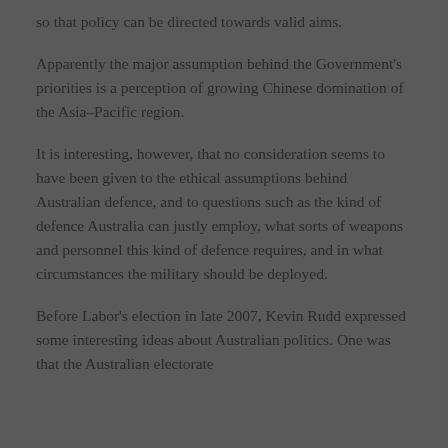so that policy can be directed towards valid aims.
Apparently the major assumption behind the Government's priorities is a perception of growing Chinese domination of the Asia–Pacific region.
It is interesting, however, that no consideration seems to have been given to the ethical assumptions behind Australian defence, and to questions such as the kind of defence Australia can justly employ, what sorts of weapons and personnel this kind of defence requires, and in what circumstances the military should be deployed.
Before Labor's election in late 2007, Kevin Rudd expressed some interesting ideas about Australian politics. One was that the Australian electorate